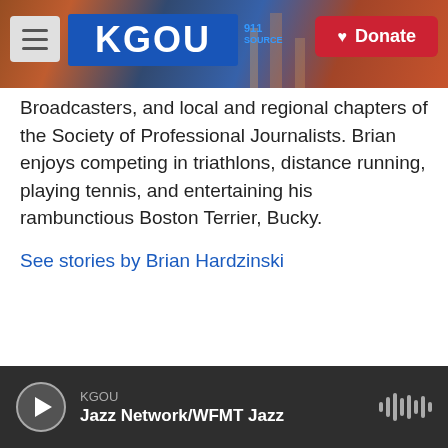KGOU | Donate
Broadcasters, and local and regional chapters of the Society of Professional Journalists. Brian enjoys competing in triathlons, distance running, playing tennis, and entertaining his rambunctious Boston Terrier, Bucky.
See stories by Brian Hardzinski
KGOU  Jazz Network/WFMT Jazz